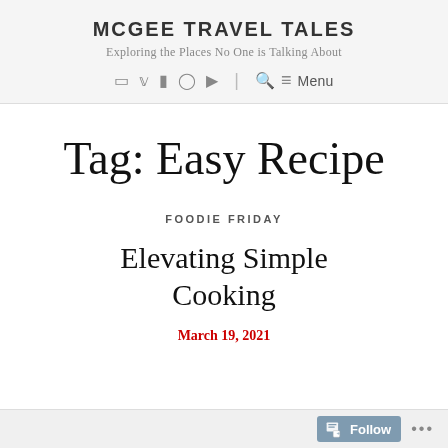MCGEE TRAVEL TALES
Exploring the Places No One is Talking About
Tag: Easy Recipe
FOODIE FRIDAY
Elevating Simple Cooking
March 19, 2021